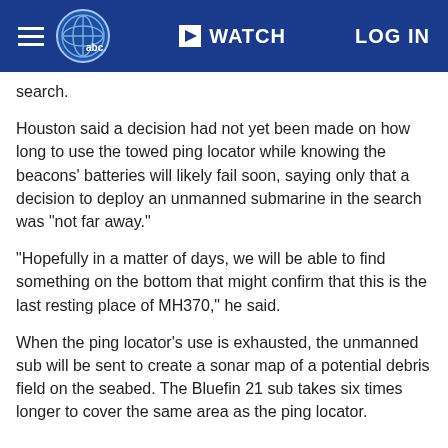WATCH  LOG IN
search.
Houston said a decision had not yet been made on how long to use the towed ping locator while knowing the beacons' batteries will likely fail soon, saying only that a decision to deploy an unmanned submarine in the search was "not far away."
"Hopefully in a matter of days, we will be able to find something on the bottom that might confirm that this is the last resting place of MH370," he said.
When the ping locator's use is exhausted, the unmanned sub will be sent to create a sonar map of a potential debris field on the seabed. The Bluefin 21 sub takes six times longer to cover the same area as the ping locator.